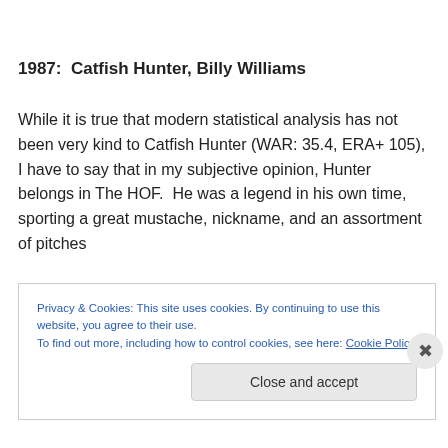1987:  Catfish Hunter, Billy Williams
While it is true that modern statistical analysis has not been very kind to Catfish Hunter (WAR: 35.4, ERA+ 105), I have to say that in my subjective opinion, Hunter belongs in The HOF.  He was a legend in his own time, sporting a great mustache, nickname, and an assortment of pitches
Privacy & Cookies: This site uses cookies. By continuing to use this website, you agree to their use.
To find out more, including how to control cookies, see here: Cookie Policy